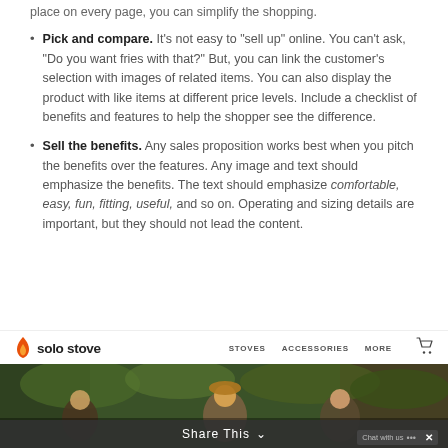place on every page, you can simplify the shopping.
Pick and compare. It’s not easy to “sell up” online. You can’t ask, “Do you want fries with that?” But, you can link the customer’s selection with images of related items. You can also display the product with like items at different price levels. Include a checklist of benefits and features to help the shopper see the difference.
Sell the benefits. Any sales proposition works best when you pitch the benefits over the features. Any image and text should emphasize the benefits. The text should emphasize comfortable, easy, fun, fitting, useful, and so on. Operating and sizing details are important, but they should not lead the content.
[Figure (screenshot): Screenshot of Solo Stove website showing navigation bar with logo, STOVES, ACCESSORIES, MORE, cart icon, and a hero image of people outdoors with a Share This overlay bar at the bottom.]